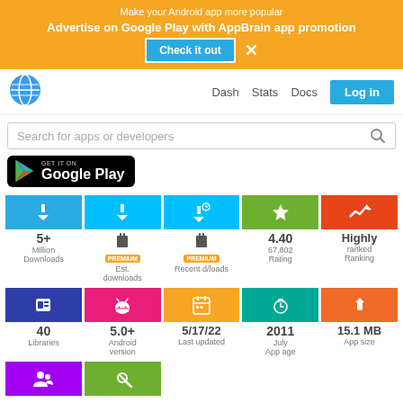[Figure (infographic): AppBrain promotional banner with orange background, text about making Android app more popular, a cyan 'Check it out' button, and a close X button]
Dash  Stats  Docs  Log in
Search for apps or developers
[Figure (logo): Get it on Google Play badge]
| Downloads | Est. downloads | Recent d/loads | Rating | Ranking |
| --- | --- | --- | --- | --- |
| 5+ Million Downloads | PREMIUM Est. downloads | PREMIUM Recent d/loads | 4.40 67,802 Rating | Highly ranked Ranking |
| 40 Libraries | 5.0+ Android version | 5/17/22 Last updated | 2011 July App age | 15.1 MB App size |